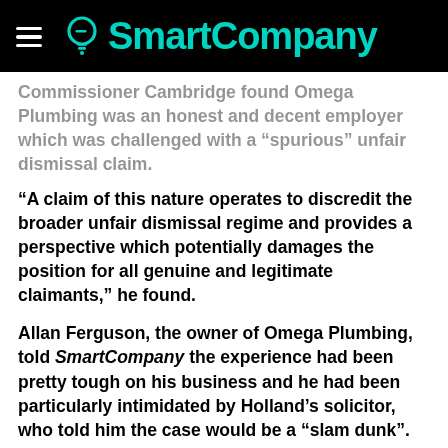SmartCompany
Commissioner Cambridge found Omega Plumbing was an honest and decent employer which was challenged with a “spurious” unfair dismissal claim.
“A claim of this nature operates to discredit the broader unfair dismissal regime and provides a perspective which potentially damages the position for all genuine and legitimate claimants,” he found.
Allan Ferguson, the owner of Omega Plumbing, told SmartCompany the experience had been pretty tough on his business and he had been particularly intimidated by Holland’s solicitor, who told him the case would be a “slam dunk”.
“It has been a very hard thing as the owner of a business with 40 staff suspecting that your manager may have been involved in something scandalous, but I had complete trust in my management,” he says.